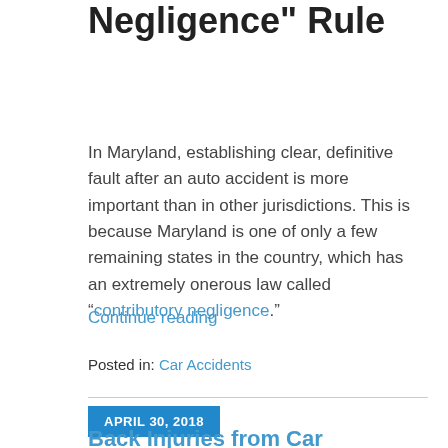Negligence" Rule
In Maryland, establishing clear, definitive fault after an auto accident is more important than in other jurisdictions. This is because Maryland is one of only a few remaining states in the country, which has an extremely onerous law called “contributory negligence.”
Continue reading
Posted in: Car Accidents
APRIL 30, 2018
Back Injuries from Car Accidents in Baltimore